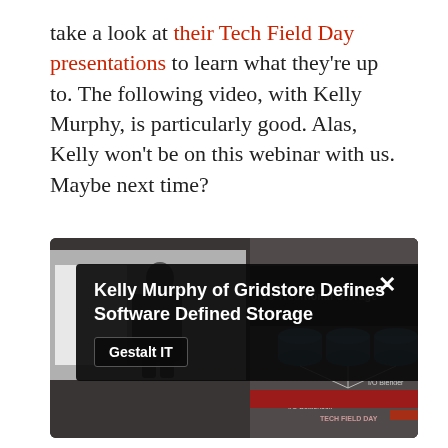take a look at their Tech Field Day presentations to learn what they're up to. The following video, with Kelly Murphy, is particularly good. Alas, Kelly won't be on this webinar with us. Maybe next time?
[Figure (screenshot): Video thumbnail screenshot of a Gestalt IT presentation titled 'Kelly Murphy of Gridstore Defines Software Defined Storage'. Shows a dark overlay with the title, a Gestalt IT badge, a close button (X), and a slide with a storage diagram on the right side and a person silhouette on the lower left.]